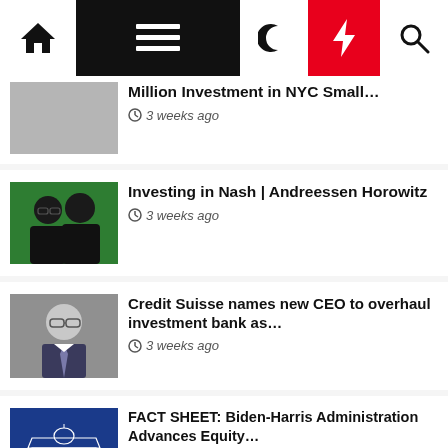Navigation bar with home, menu, moon, bolt, search icons
Million Investment in NYC Small… 3 weeks ago
Investing in Nash | Andreessen Horowitz 3 weeks ago
Credit Suisse names new CEO to overhaul investment bank as… 3 weeks ago
FACT SHEET: Biden-Harris Administration Advances Equity… 4 weeks ago
Berkshire Partners to Invest in Leading Israeli Data Center… 4 weeks ago